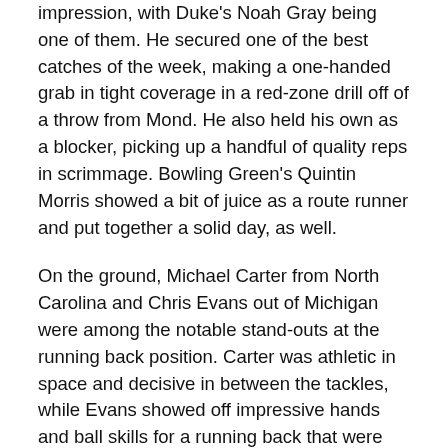impression, with Duke's Noah Gray being one of them. He secured one of the best catches of the week, making a one-handed grab in tight coverage in a red-zone drill off of a throw from Mond. He also held his own as a blocker, picking up a handful of quality reps in scrimmage. Bowling Green's Quintin Morris showed a bit of juice as a route runner and put together a solid day, as well.
On the ground, Michael Carter from North Carolina and Chris Evans out of Michigan were among the notable stand-outs at the running back position. Carter was athletic in space and decisive in between the tackles, while Evans showed off impressive hands and ball skills for a running back that were apparent when looking at his collegiate tape. Mississippi State's Kylin Hill also showed toughness in between the tackles and power as a pass blocker out of the backfield.